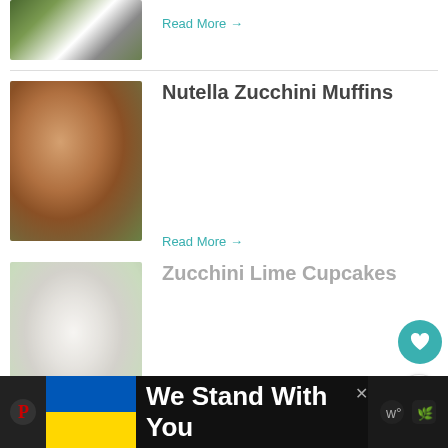[Figure (photo): Partial view of a flower arrangement photo at top of page]
Read More →
[Figure (photo): Close-up photo of Nutella Zucchini Muffins]
Nutella Zucchini Muffins
Read More →
[Figure (photo): Photo of Zucchini Lime Cupcakes with white frosting, faded/washed out appearance]
Zucchini Lime Cupcakes
Read More →
[Figure (other): Advertisement banner: Ukrainian flag with text 'We Stand With You'. Dark background with close/X button.]